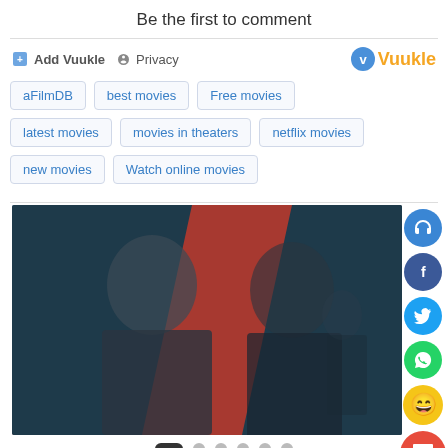Be the first to comment
Add Vuukle  Privacy  Vuukle
aFilmDB
best movies
Free movies
latest movies
movies in theaters
netflix movies
new movies
Watch online movies
[Figure (photo): Movie promotional image showing two actors — a bald man in a suit and tie, and a dark-haired woman — against a dramatic background with red and teal tones. Social media sharing buttons (headphones, Facebook, Twitter, WhatsApp, emoji, chat) appear on the right side.]